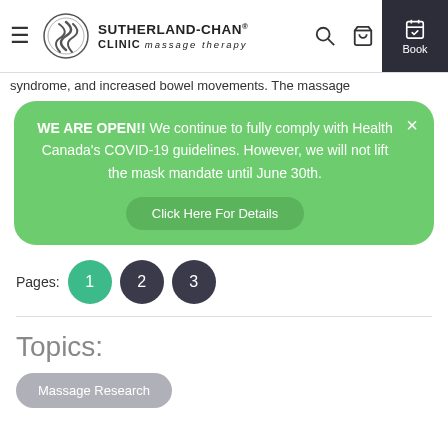Sutherland-Chan Clinic massage therapy
syndrome, and increased bowel movements. The massage
WE ARE OPEN!! We continue to fully comply with Health Canada's COVID-19 guidelines. However, we will not lift the mask mandate until June 30th. Click Here For Details
Pages: 1 2 3
Topics:
Massage Research